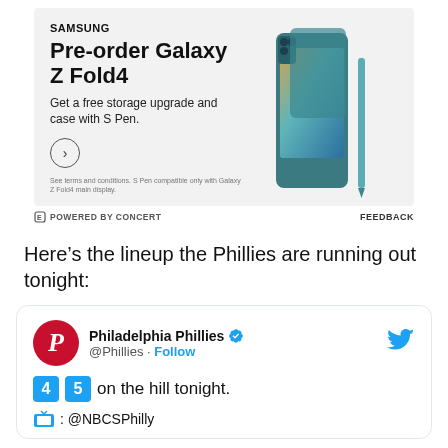[Figure (advertisement): Samsung advertisement for Pre-order Galaxy Z Fold4 with phone image, showing offer for free storage upgrade and case with S Pen]
ᴱ POWERED BY CONCERT   FEEDBACK
Here’s the lineup the Phillies are running out tonight:
[Figure (screenshot): Twitter/X post from Philadelphia Phillies @Phillies with Follow button, showing '4 5 on the hill tonight.' and TV: @NBCSPhilly]